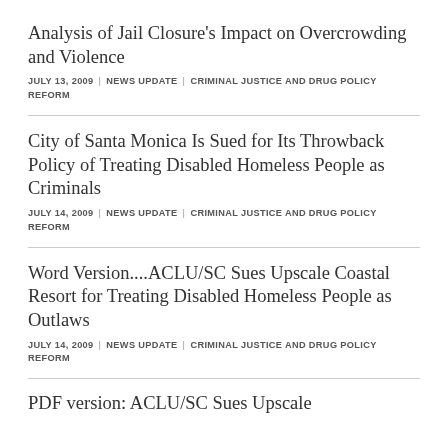Analysis of Jail Closure's Impact on Overcrowding and Violence
JULY 13, 2009 | NEWS UPDATE | CRIMINAL JUSTICE AND DRUG POLICY REFORM
City of Santa Monica Is Sued for Its Throwback Policy of Treating Disabled Homeless People as Criminals
JULY 14, 2009 | NEWS UPDATE | CRIMINAL JUSTICE AND DRUG POLICY REFORM
Word Version....ACLU/SC Sues Upscale Coastal Resort for Treating Disabled Homeless People as Outlaws
JULY 14, 2009 | NEWS UPDATE | CRIMINAL JUSTICE AND DRUG POLICY REFORM
PDF version: ACLU/SC Sues Upscale